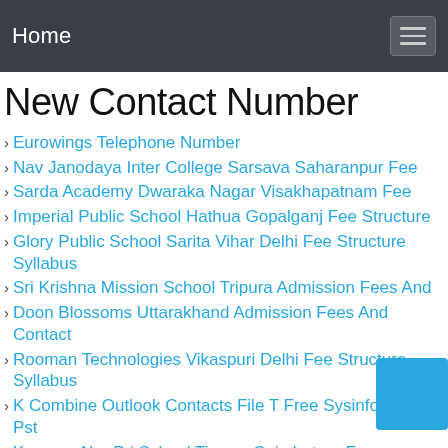Home
New Contact Number
Eurowings Telephone Number
Nav Janodaya Inter College Sarsava Saharanpur Fee
Sarda Academy Dwaraka Nagar Visakhapatnam Fee
Imperial Public School Hathua Gopalganj Fee Structure
Glory Public School Sarita Vihar Delhi Fee Structure Syllabus
Sri Krishna Mission School Tripura Admission Fees And
Doon Blossoms Uttarakhand Admission Fees And Contact
Rooman Technologies Vikaspuri Delhi Fee Structure Syllabus
K Combine Outlook Contacts File T Free Sysinfotools Pst
Karunya Nur Pri School Tirupur Coimbatore Fee Structure
Guruvarya Balaram Patil School Nerul Thane Fee Structure